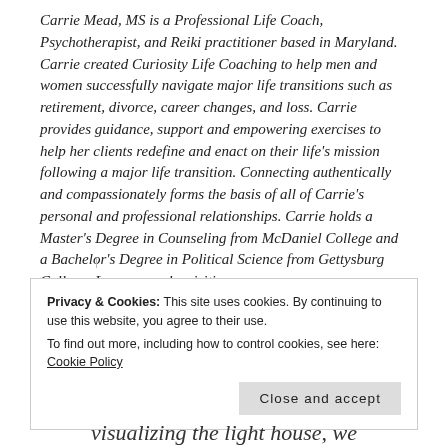Carrie Mead, MS is a Professional Life Coach, Psychotherapist, and Reiki practitioner based in Maryland. Carrie created Curiosity Life Coaching to help men and women successfully navigate major life transitions such as retirement, divorce, career changes, and loss. Carrie provides guidance, support and empowering exercises to help her clients redefine and enact on their life's mission following a major life transition. Connecting authentically and compassionately forms the basis of all of Carrie's personal and professional relationships. Carrie holds a Master's Degree in Counseling from McDaniel College and a Bachelor's Degree in Political Science from Gettysburg College. Learn more by visiting www.curiositylifecoaching.com
Privacy & Cookies: This site uses cookies. By continuing to use this website, you agree to their use. To find out more, including how to control cookies, see here: Cookie Policy
Close and accept
visualizing the light house, we